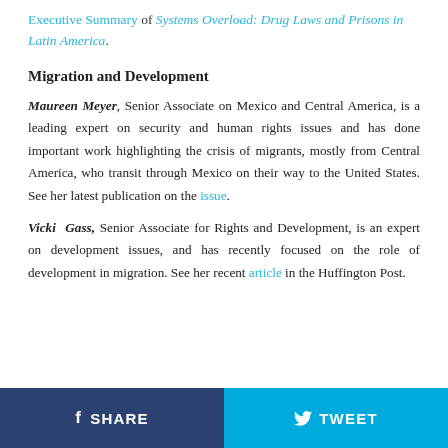Executive Summary of Systems Overload: Drug Laws and Prisons in Latin America.
Migration and Development
Maureen Meyer, Senior Associate on Mexico and Central America, is a leading expert on security and human rights issues and has done important work highlighting the crisis of migrants, mostly from Central America, who transit through Mexico on their way to the United States. See her latest publication on the issue.
Vicki Gass, Senior Associate for Rights and Development, is an expert on development issues, and has recently focused on the role of development in migration. See her recent article in the Huffington Post.
SHARE   TWEET